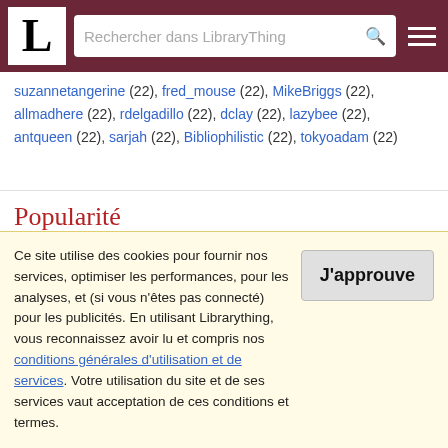LibraryThing – Rechercher dans LibraryThing
suzannetangerine (22), fred_mouse (22), MikeBriggs (22), allmadhere (22), rdelgadillo (22), dclay (22), lazybee (22), antqueen (22), sarjah (22), Bibliophilistic (22), tokyoadam (22)
Popularité
Tous | 10y | 5y    Titres source | Tous    Année | Quart…
0.003%
Ce site utilise des cookies pour fournir nos services, optimiser les performances, pour les analyses, et (si vous n'êtes pas connecté) pour les publicités. En utilisant Librarything, vous reconnaissez avoir lu et compris nos conditions générales d'utilisation et de services. Votre utilisation du site et de ses services vaut acceptation de ces conditions et termes.